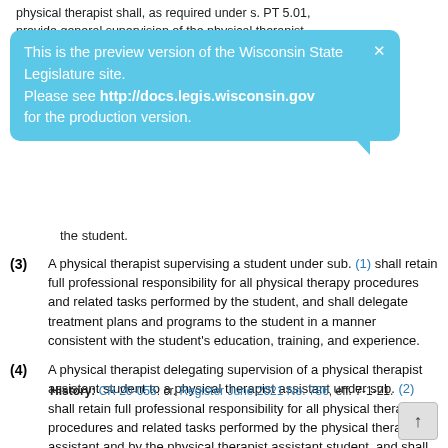physical therapist shall, as required under s. PT 5.01, provide general supervision of the physical therapist
[Figure (infographic): Preview banner overlay: 'This is the preview version of the Wisconsin State Legislature site. Please see http://docs.legis.wisconsin.gov for the production version.' with a close X button and speech bubble tail.]
the student.
(3) A physical therapist supervising a student under sub. (1) shall retain full professional responsibility for all physical therapy procedures and related tasks performed by the student, and shall delegate treatment plans and programs to the student in a manner consistent with the student's education, training, and experience.
(4) A physical therapist delegating supervision of a physical therapist assistant student to a physical therapist assistant under sub. (2) shall retain full professional responsibility for all physical therapy procedures and related tasks performed by the physical therapist assistant and by the physical therapist assistant student, and shall delegate treatment plans and programs to the physical therapist assistant student in a manner consistent with the student's education, training, and experience.
History: CR 20-055: cr. Register June 2021 No. 786, eff. 7-1-21.